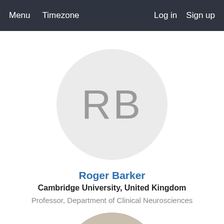Menu  Timezone  Log in  Sign up
[Figure (illustration): Circular avatar placeholder with initials RB in gray on light gray background]
Roger Barker
Cambridge University, United Kingdom
Professor, Department of Clinical Neurosciences
[Figure (photo): Circular photo of a man with dark hair and glasses, partially visible, cropped at bottom of page]